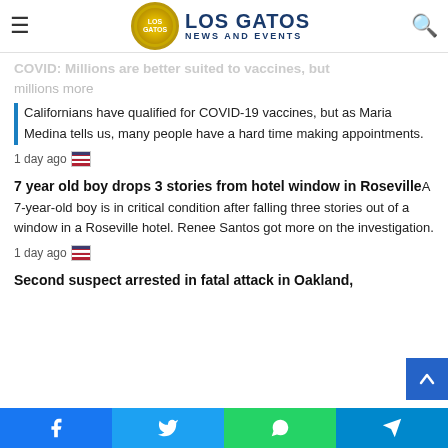Los Gatos News and Events
COVID: Millions are better suited to vaccines, but millions more Californians have qualified for COVID-19 vaccines, but as Maria Medina tells us, many people have a hard time making appointments.
1 day ago
7 year old boy drops 3 stories from hotel window in Roseville
A 7-year-old boy is in critical condition after falling three stories out of a window in a Roseville hotel. Renee Santos got more on the investigation.
1 day ago
Second suspect arrested in fatal attack in Oakland,
Facebook Twitter WhatsApp Telegram